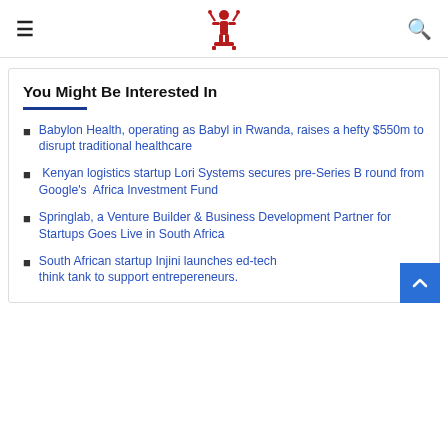[hamburger menu] [logo] [search icon]
You Might Be Interested In
Babylon Health, operating as Babyl in Rwanda, raises a hefty $550m to disrupt traditional healthcare
Kenyan logistics startup Lori Systems secures pre-Series B round from Google's Africa Investment Fund
Springlab, a Venture Builder & Business Development Partner for Startups Goes Live in South Africa
South African startup Injini launches ed-tech think tank to support entrepereneurs.